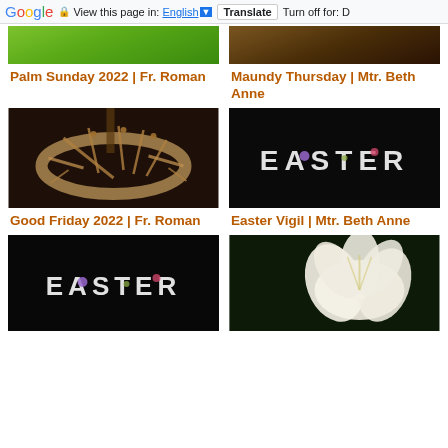Google  View this page in: English [▼]  Translate  Turn off for: D
[Figure (photo): Partial top of green palm leaf photo (cropped)]
[Figure (photo): Partial top of dark person/scene photo (cropped)]
Palm Sunday 2022 | Fr. Roman
Maundy Thursday | Mtr. Beth Anne
[Figure (photo): Crown of thorns on dark brown background]
[Figure (photo): EASTER text with flowers on black background]
Good Friday 2022 | Fr. Roman
Easter Vigil | Mtr. Beth Anne
[Figure (photo): EASTER text with flowers on black background (second instance)]
[Figure (photo): White Easter lily flower on dark background]